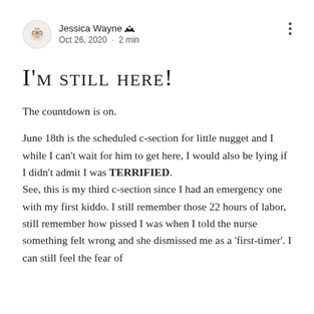Jessica Wayne · Oct 26, 2020 · 2 min
I'M STILL HERE!
The countdown is on.
June 18th is the scheduled c-section for little nugget and I while I can't wait for him to get here, I would also be lying if I didn't admit I was TERRIFIED. See, this is my third c-section since I had an emergency one with my first kiddo. I still remember those 22 hours of labor, still remember how pissed I was when I told the nurse something felt wrong and she dismissed me as a 'first-timer'. I can still feel the fear of